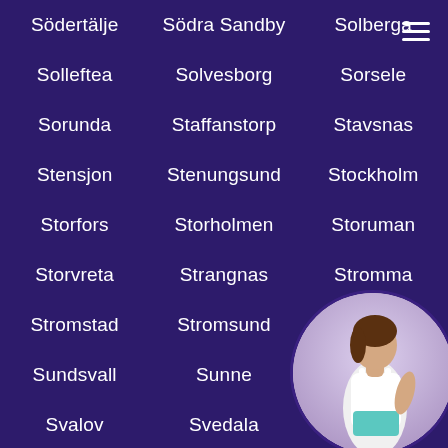Sodertaije
Sodra Sandby
Solberga
Solleftea
Solvesborg
Sorsele
Sorunda
Staffanstorp
Stavsnas
Stensjon
Stenungsund
Stockholm
Storfors
Storholmen
Storuman
Storvreta
Strangnas
Stromma
Stromstad
Stromsund
Sundborn
Sundsvall
Sunne
Surahammar
Svalov
Svedala
Sveg
S...
Taberg
Taby
Tallbe...
Tanumshede
Tidaholm
Tierp...
[Figure (photo): Circular photo of a woman in white top and teal shorts, posing, bottom-right corner]